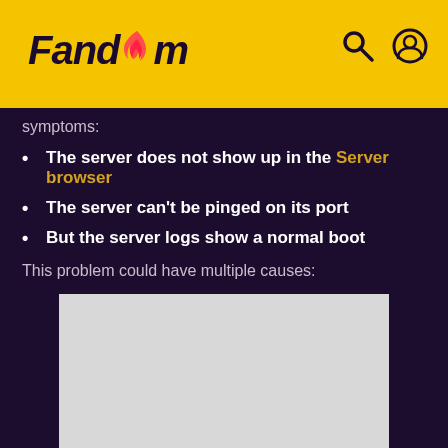Fandom
symptoms:
The server does not show up in the Server browser
The server can't be pinged on its port
But the server logs show a normal boot
This problem could have multiple causes:
[Figure (other): Gray placeholder box for an image or advertisement]